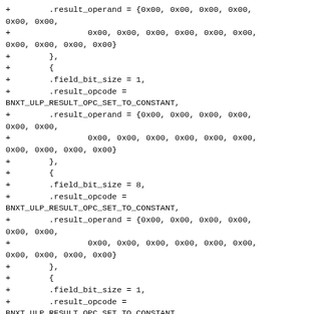+        .result_operand = {0x00, 0x00, 0x00, 0x00, 0x00, 0x00,
+                0x00, 0x00, 0x00, 0x00, 0x00, 0x00, 0x00, 0x00, 0x00, 0x00}
+        },
+        {
+        .field_bit_size = 1,
+        .result_opcode =
BNXT_ULP_RESULT_OPC_SET_TO_CONSTANT,
+        .result_operand = {0x00, 0x00, 0x00, 0x00, 0x00, 0x00,
+                0x00, 0x00, 0x00, 0x00, 0x00, 0x00, 0x00, 0x00, 0x00, 0x00}
+        },
+        {
+        .field_bit_size = 8,
+        .result_opcode =
BNXT_ULP_RESULT_OPC_SET_TO_CONSTANT,
+        .result_operand = {0x00, 0x00, 0x00, 0x00, 0x00, 0x00,
+                0x00, 0x00, 0x00, 0x00, 0x00, 0x00, 0x00, 0x00, 0x00, 0x00}
+        },
+        {
+        .field_bit_size = 1,
+        .result_opcode =
BNXT_ULP_RESULT_OPC_SET_TO_CONSTANT,
+        .result_operand = {0x00, 0x00, 0x00, 0x00, 0x00, 0x00,
+                0x00, 0x00, 0x00, 0x00, 0x00, 0x00,